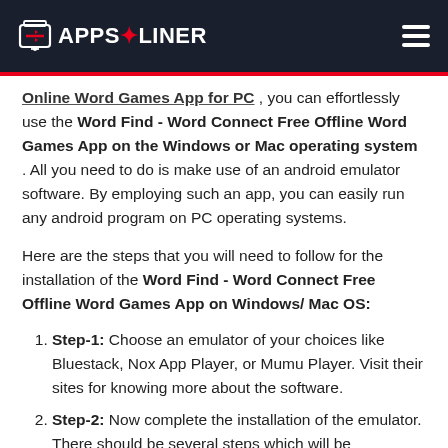APPS LINER
Online Word Games App for PC , you can effortlessly use the Word Find - Word Connect Free Offline Word Games App on the Windows or Mac operating system . All you need to do is make use of an android emulator software. By employing such an app, you can easily run any android program on PC operating systems.
Here are the steps that you will need to follow for the installation of the Word Find - Word Connect Free Offline Word Games App on Windows/ Mac OS:
Step-1: Choose an emulator of your choices like Bluestack, Nox App Player, or Mumu Player. Visit their sites for knowing more about the software.
Step-2: Now complete the installation of the emulator. There should be several steps which will be mentioned